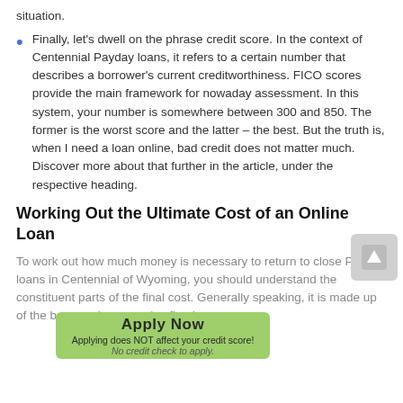situation.
Finally, let's dwell on the phrase credit score. In the context of Centennial Payday loans, it refers to a certain number that describes a borrower's current creditworthiness. FICO scores provide the main framework for nowaday assessment. In this system, your number is somewhere between 300 and 850. The former is the worst score and the latter – the best. But the truth is, when I need a loan online, bad credit does not matter much. Discover more about that further in the article, under the respective heading.
Working Out the Ultimate Cost of an Online Loan
To work out how much money is necessary to return to close Payday loans in Centennial of Wyoming, you should understand the constituent parts of the final cost. Generally speaking, it is made up of the borrowed money plus fixed
[Figure (other): Green apply button overlay with text 'Apply Now', 'Applying does NOT affect your credit score!', 'No credit check to apply.']